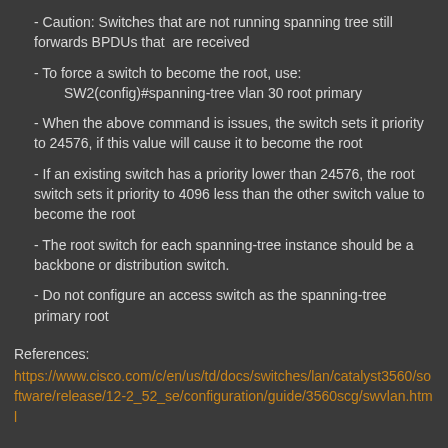- Caution: Switches that are not running spanning tree still forwards BPDUs that are received
- To force a switch to become the root, use: SW2(config)#spanning-tree vlan 30 root primary
- When the above command is issues, the switch sets it priority to 24576, if this value will cause it to become the root
- If an existing switch has a priority lower than 24576, the root switch sets it priority to 4096 less than the other switch value to become the root
- The root switch for each spanning-tree instance should be a backbone or distribution switch.
- Do not configure an access switch as the spanning-tree primary root
References:
https://www.cisco.com/c/en/us/td/docs/switches/lan/catalyst3560/software/release/12-2_52_se/configuration/guide/3560scg/swvlan.html